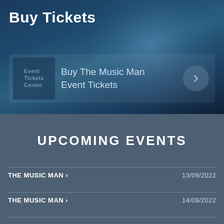Buy Tickets
Buy The Music Man Event Tickets
UPCOMING EVENTS
THE MUSIC MAN > 13/09/2022
THE MUSIC MAN > 14/09/2022